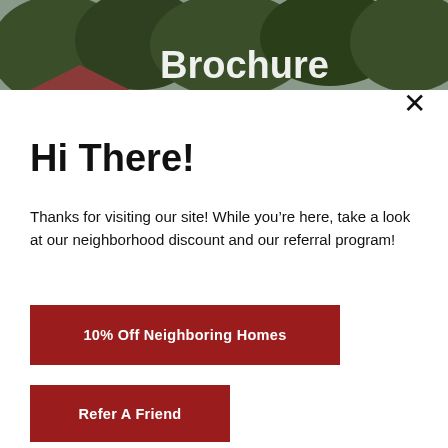[Figure (photo): Background header photo showing trees and a house roof against a grey sky, with partial white text 'Brochure' overlaid]
Hi There!
Thanks for visiting our site! While you’re here, take a look at our neighborhood discount and our referral program!
10% Off Neighboring Homes
Refer A Friend